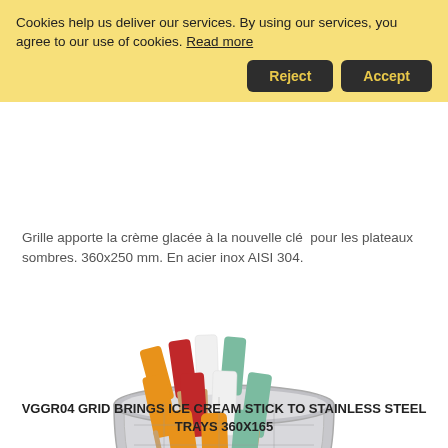Cookies help us deliver our services. By using our services, you agree to our use of cookies. Read more
Grille apporte la crème glacée à la nouvelle clé pour les plateaux sombres. 360x250 mm. En acier inox AISI 304.
[Figure (photo): Stainless steel tray holding multiple colorful ice cream sticks (popsicles) in orange, red, white, and green/teal colors with wooden sticks, on a white background.]
VGGR04 GRID BRINGS ICE CREAM STICK TO STAINLESS STEEL TRAYS 360X165